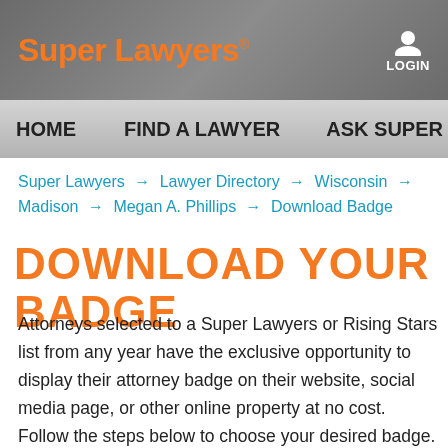Super Lawyers® | LOGIN
HOME   FIND A LAWYER   ASK SUPER L…
Super Lawyers → Lawyer Directory → Wisconsin → Madison → Megan A. Phillips → Download Badge
DOWNLOAD YOUR BADGE
Attorneys selected to a Super Lawyers or Rising Stars list from any year have the exclusive opportunity to display their attorney badge on their website, social media page, or other online property at no cost. Follow the steps below to choose your desired badge. If you choose the personalized badge, a customized code will be generated and made available for you to use or to send to your web master.